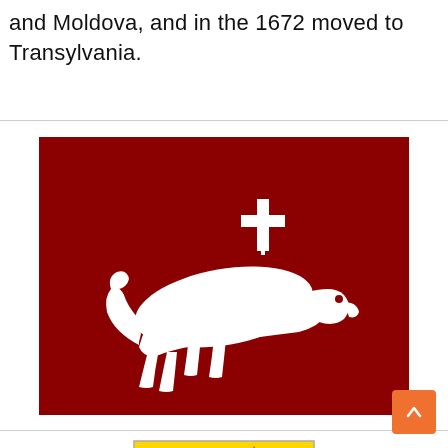and Moldova, and in the 1672 moved to Transylvania.
[Figure (illustration): Flag with dark red/maroon background featuring a white lion passant with a white cross above its back — emblem of Transylvania or a related principality.]
[Figure (illustration): Coat of arms: a yellow/gold shield bearing a red rampant lion with a blue crown, on a yellow background — heraldic emblem partially visible.]